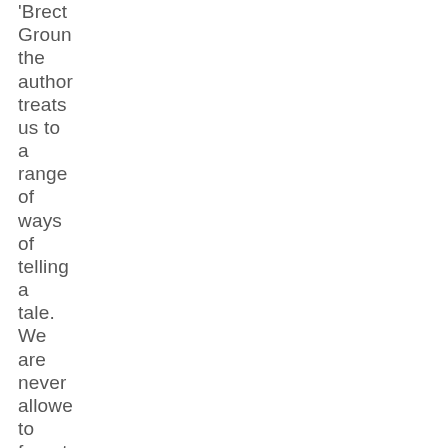Groun the author treats us to a range of ways of telling a tale. We are never allowe to forget that this is a story